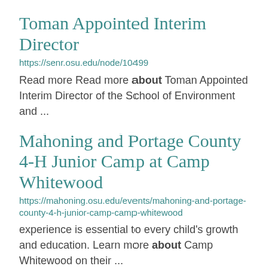Toman Appointed Interim Director
https://senr.osu.edu/node/10499
Read more Read more about Toman Appointed Interim Director of the School of Environment and ...
Mahoning and Portage County 4-H Junior Camp at Camp Whitewood
https://mahoning.osu.edu/events/mahoning-and-portage-county-4-h-junior-camp-camp-whitewood
experience is essential to every child's growth and education. Learn more about Camp Whitewood on their ...